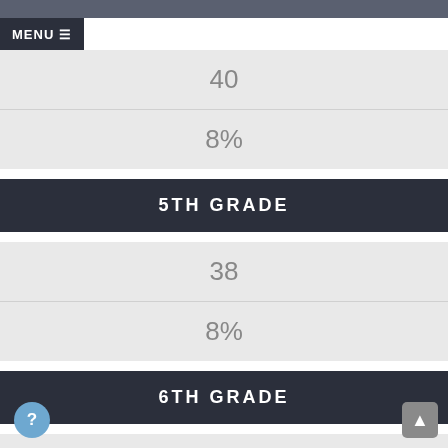MENU
40
8%
5TH GRADE
38
8%
6TH GRADE
40